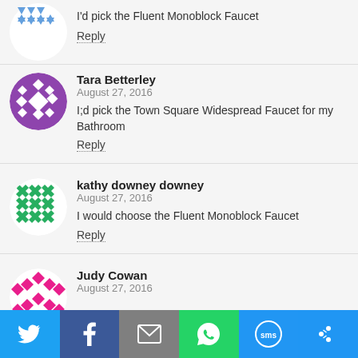I'd pick the Fluent Monoblock Faucet
Reply
Tara Betterley
August 27, 2016
I;d pick the Town Square Widespread Faucet for my Bathroom
Reply
kathy downey downey
August 27, 2016
I would choose the Fluent Monoblock Faucet
Reply
Judy Cowan
August 27, 2016